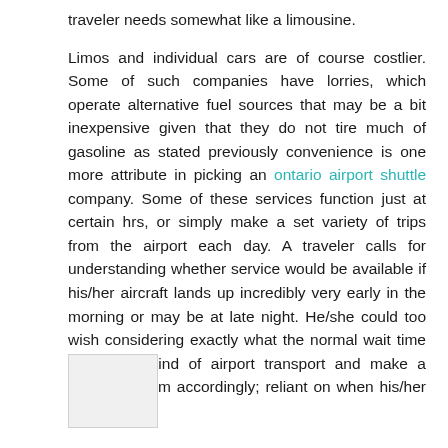traveler needs somewhat like a limousine.

Limos and individual cars are of course costlier. Some of such companies have lorries, which operate alternative fuel sources that may be a bit inexpensive given that they do not tire much of gasoline as stated previously convenience is one more attribute in picking an ontario airport shuttle company. Some of these services function just at certain hrs, or simply make a set variety of trips from the airport each day. A traveler calls for understanding whether service would be available if his/her aircraft lands up incredibly very early in the morning or may be at late night. He/she could too wish considering exactly what the normal wait time is for any kind of airport transport and make a decision a firm accordingly; reliant on when his/her flight end up.
[Figure (other): Small light gray rectangle placeholder image]